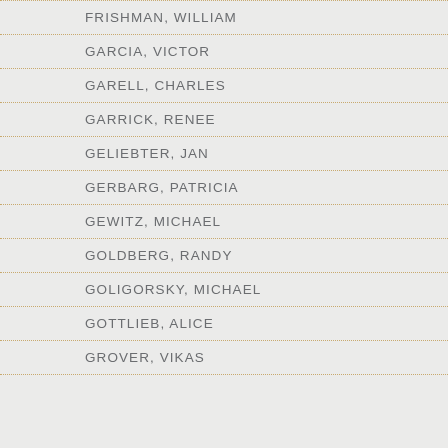FRISHMAN, WILLIAM
GARCIA, VICTOR
GARELL, CHARLES
GARRICK, RENEE
GELIEBTER, JAN
GERBARG, PATRICIA
GEWITZ, MICHAEL
GOLDBERG, RANDY
GOLIGORSKY, MICHAEL
GOTTLIEB, ALICE
GROVER, VIKAS